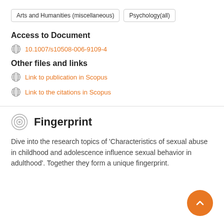Arts and Humanities (miscellaneous)   Psychology(all)
Access to Document
10.1007/s10508-006-9109-4
Other files and links
Link to publication in Scopus
Link to the citations in Scopus
Fingerprint
Dive into the research topics of 'Characteristics of sexual abuse in childhood and adolescence influence sexual behavior in adulthood'. Together they form a unique fingerprint.